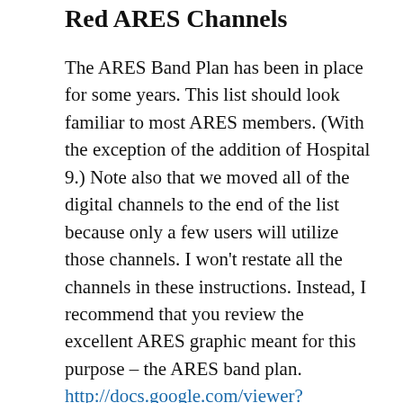Red ARES Channels
The ARES Band Plan has been in place for some years. This list should look familiar to most ARES members. (With the exception of the addition of Hospital 9.) Note also that we moved all of the digital channels to the end of the list because only a few users will utilize those channels. I won't restate all the channels in these instructions. Instead, I recommend that you review the excellent ARES graphic meant for this purpose – the ARES band plan. http://docs.google.com/viewer?a=v&pid=sites&srcid=c2xjb2FyZXMubmV0fHNsY29hcmVzVzfGd4OmQwMjFkNzdkMjg0ODQ2MA